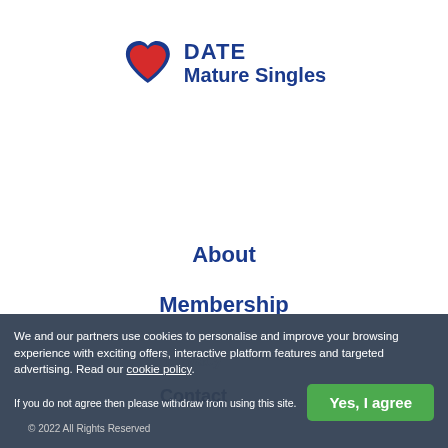[Figure (logo): Date Mature Singles logo with heart icon (red heart inside blue outline) and blue bold text 'DATE Mature Singles']
About
Membership
Safety tips
Terms
We and our partners use cookies to personalise and improve your browsing experience with exciting offers, interactive platform features and targeted advertising. Read our cookie policy.
If you do not agree then please withdraw from using this site.
© 2022 All Rights Reserved